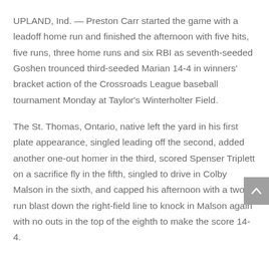UPLAND, Ind. — Preston Carr started the game with a leadoff home run and finished the afternoon with five hits, five runs, three home runs and six RBI as seventh-seeded Goshen trounced third-seeded Marian 14-4 in winners' bracket action of the Crossroads League baseball tournament Monday at Taylor's Winterholter Field.
The St. Thomas, Ontario, native left the yard in his first plate appearance, singled leading off the second, added another one-out homer in the third, scored Spenser Triplett on a sacrifice fly in the fifth, singled to drive in Colby Malson in the sixth, and capped his afternoon with a two-run blast down the right-field line to knock in Malson again with no outs in the top of the eighth to make the score 14-4.